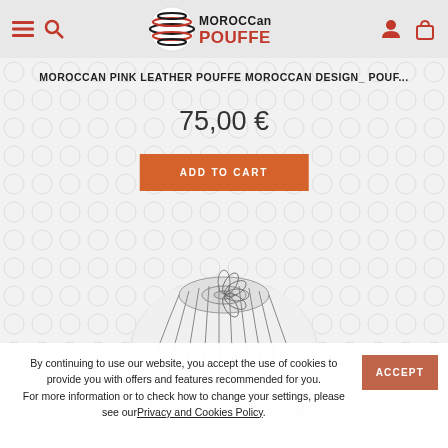[Figure (logo): Moroccan Pouffe logo with striped sphere and brand name]
MOROCCAN PINK LEATHER POUFFE MOROCCAN DESIGN_ POUF...
75,00 €
ADD TO CART
[Figure (photo): White Moroccan leather pouffe with embroidered floral pattern on top]
By continuing to use our website, you accept the use of cookies to provide you with offers and features recommended for you.
For more information or to check how to change your settings, please see ourPrivacy and Cookies Policy.
ACCEPT